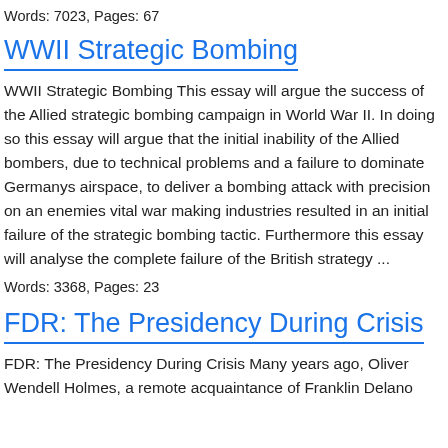Words: 7023, Pages: 67
WWII Strategic Bombing
WWII Strategic Bombing This essay will argue the success of the Allied strategic bombing campaign in World War II. In doing so this essay will argue that the initial inability of the Allied bombers, due to technical problems and a failure to dominate Germanys airspace, to deliver a bombing attack with precision on an enemies vital war making industries resulted in an initial failure of the strategic bombing tactic. Furthermore this essay will analyse the complete failure of the British strategy ...
Words: 3368, Pages: 23
FDR: The Presidency During Crisis
FDR: The Presidency During Crisis Many years ago, Oliver Wendell Holmes, a remote acquaintance of Franklin Delano